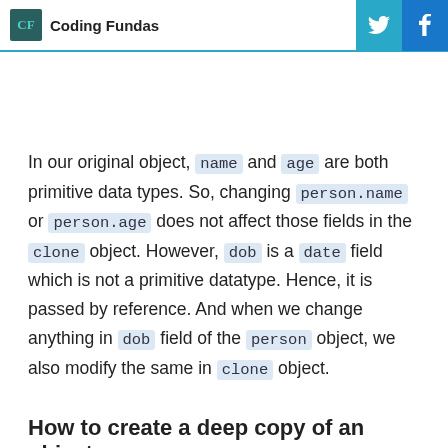CF Coding Fundas
In our original object, name and age are both primitive data types. So, changing person.name or person.age does not affect those fields in the clone object. However, dob is a date field which is not a primitive datatype. Hence, it is passed by reference. And when we change anything in dob field of the person object, we also modify the same in clone object.
How to create a deep copy of an object